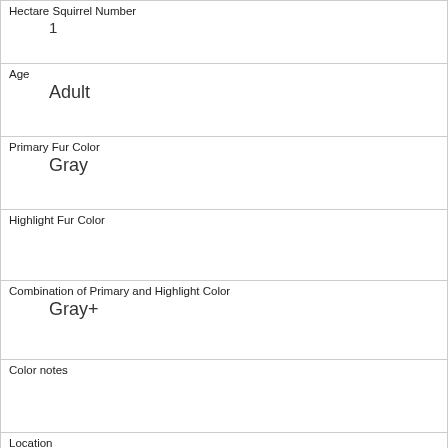| Field | Value |
| --- | --- |
| Hectare Squirrel Number | 1 |
| Age | Adult |
| Primary Fur Color | Gray |
| Highlight Fur Color |  |
| Combination of Primary and Highlight Color | Gray+ |
| Color notes |  |
| Location | Ground Plane |
| Above Ground Sighter Measurement | FALSE |
| Specific Location | Pond area |
| Running | 0 |
| Chasing |  |